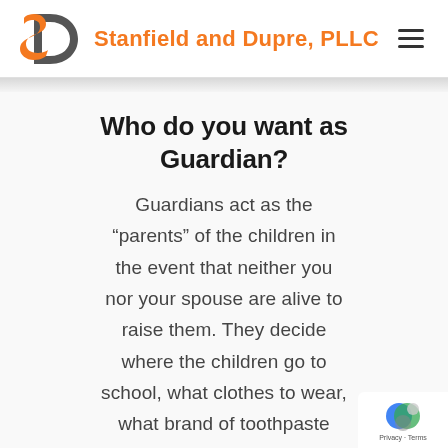[Figure (logo): Stanfield and Dupre, PLLC logo with orange S and grey D arc]
Stanfield and Dupre, PLLC
Who do you want as Guardian?
Guardians act as the “parents” of the children in the event that neither you nor your spouse are alive to raise them. They decide where the children go to school, what clothes to wear, what brand of toothpaste